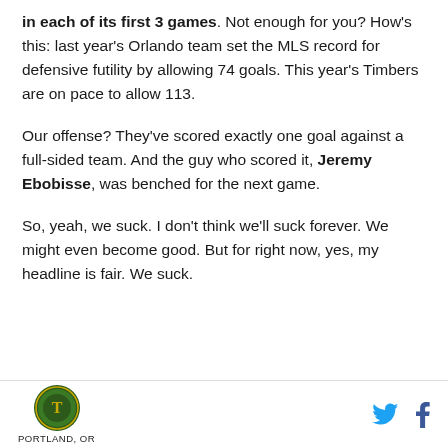in each of its first 3 games. Not enough for you? How's this: last year's Orlando team set the MLS record for defensive futility by allowing 74 goals. This year's Timbers are on pace to allow 113.
Our offense? They've scored exactly one goal against a full-sided team. And the guy who scored it, Jeremy Ebobisse, was benched for the next game.
So, yeah, we suck. I don't think we'll suck forever. We might even become good. But for right now, yes, my headline is fair. We suck.
PORTLAND, OR